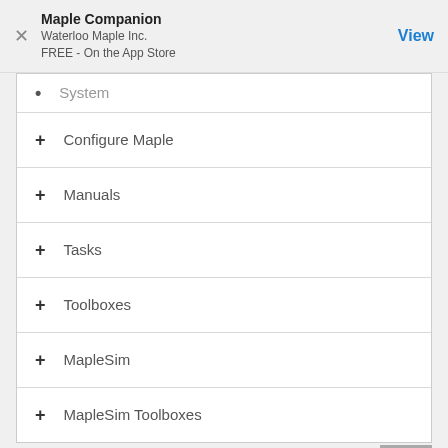Maple Companion
Waterloo Maple Inc.
FREE - On the App Store
System
Configure Maple
Manuals
Tasks
Toolboxes
MapleSim
MapleSim Toolboxes
Home : Support : Online Help : Education : Student Packages : ODEs : Computation : Solve : Exact